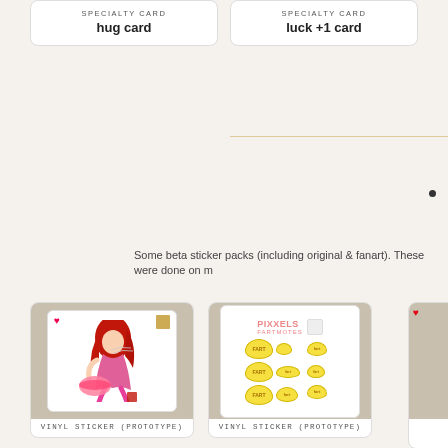[Figure (illustration): Specialty card labeled 'hug card' in a white rounded rectangle card box]
[Figure (illustration): Specialty card labeled 'luck +1 card' in a white rounded rectangle card box]
Some beta sticker packs (including original & fanart). These were done on m
[Figure (illustration): Vinyl sticker prototype showing a Jessica Rabbit fan art sticker with red hair and pink dress, plus a large lips sticker on a white card with linen background]
VINYL STICKER (prototype)
[Figure (illustration): Vinyl sticker prototype showing Pixxels Fartmotes sticker sheet with multiple yellow speech bubble 'FART' stickers on a white card with linen background]
VINYL STICKER (prototype)